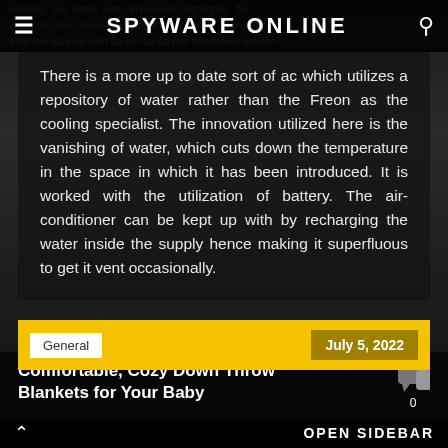SPYWARE ONLINE
models are fitted with improved highlights, for example she chose to change this cooling innovation limits the size as well as set up as per the power source.
There is a more up to date sort of ac which utilizes a repository of water rather than the Freon as the cooling specialist. The innovation utilized here is the vanishing of water, which cuts down the temperature in the space in which it has been introduced. It is worked with the utilization of battery. The air-conditioner can be kept up with by recharging the water inside the supply hence making it superfluous to get it vent occasionally.
General   July 5, 2022
Comfortable, Cozy Down Throw Blankets for Your Baby
OPEN SIDEBAR